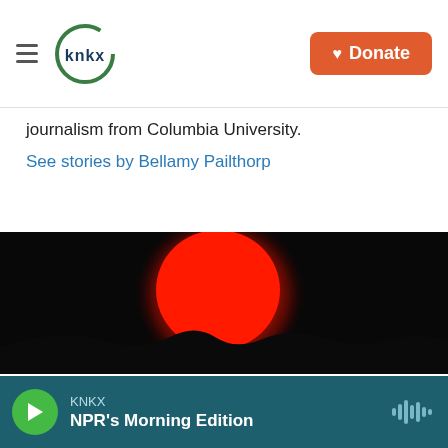KNKX | Donate
journalism from Columbia University.
See stories by Bellamy Pailthorp
[Figure (photo): A large red glowing sun or moon setting behind a dark silhouetted hillline against a black sky — likely a wildfire smoke-filtered sun]
KNKX — NPR's Morning Edition